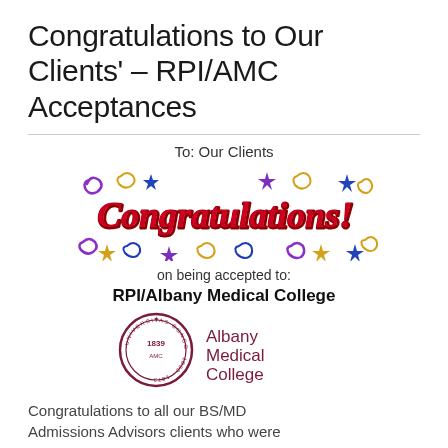Congratulations to Our Clients' – RPI/AMC Acceptances
To: Our Clients
[Figure (illustration): Colorful 'Congratulations!' graphic with stars, swirls, and festive lettering in red, purple, gold, and blue]
on being accepted to:
RPI/Albany Medical College
[Figure (logo): Albany Medical College seal logo with 'Albany Medical College' text to the right]
Congratulations to all our BS/MD Admissions Advisors clients who were